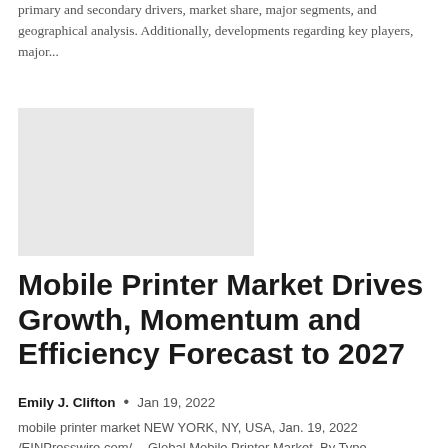primary and secondary drivers, market share, major segments, and geographical analysis. Additionally, developments regarding key players, major...
[Figure (other): Gray placeholder image block]
Mobile Printer Market Drives Growth, Momentum and Efficiency Forecast to 2027
Emily J. Clifton  •  Jan 19, 2022
mobile printer market NEW YORK, NY, USA, Jan. 19, 2022 /EINPresswire.com/ -- Global Mobile Printer Market, By Type